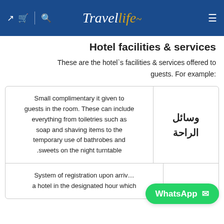TravelLife
Hotel facilities & services
These are the hotel`s facilities & services offered to guests. For example:
| Description | Category |
| --- | --- |
| Small complimentary it given to guests in the room. These can include everything from toiletries such as soap and shaving items to the temporary use of bathrobes and sweets on the night turntable. | وسائل الراحة |
| System of registration upon arrival at a hotel in the designated hour which |  |